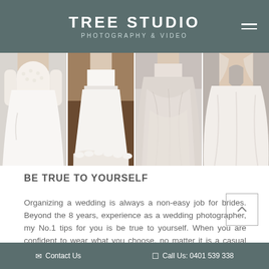TREE STUDIO
PHOTOGRAPHY & VIDEO
[Figure (photo): Four side-by-side photos of wedding dresses/gowns: lace crop top with white skirt, white full-length skirt with lace hem, layered pale gray/pink chiffon skirt, open-back white gown with full skirt]
BE TRUE TO YOURSELF
Organizing a wedding is always a non-easy job for brides. Beyond the 8 years, experience as a wedding photographer, my No.1 tips for you is be true to yourself. When you are confident to wear what you choose, no matter it is a casual wedding dress and a traditional wedding gown, you will truly shine and be the
Contact Us    Call Us: 0401 539 338